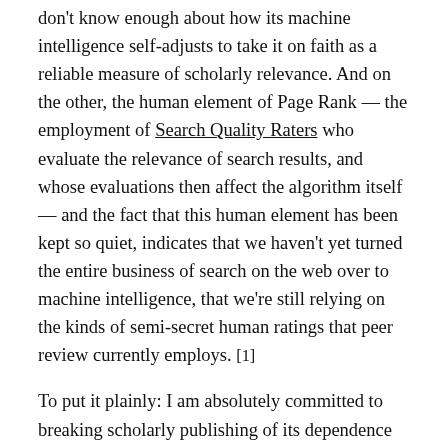don't know enough about how its machine intelligence self-adjusts to take it on faith as a reliable measure of scholarly relevance. And on the other, the human element of Page Rank — the employment of Search Quality Raters who evaluate the relevance of search results, and whose evaluations then affect the algorithm itself — and the fact that this human element has been kept so quiet, indicates that we haven't yet turned the entire business of search on the web over to machine intelligence, that we're still relying on the kinds of semi-secret human ratings that peer review currently employs. [1]
To put it plainly: I am absolutely committed to breaking scholarly publishing of its dependence on gatekeeping and transforming it into a Shirkyesque publish-then-filter model. No question. But our filters can only ever be as good as our algorithms, and it's clear that we just don't know enough about Google's algorithms. O'Malley